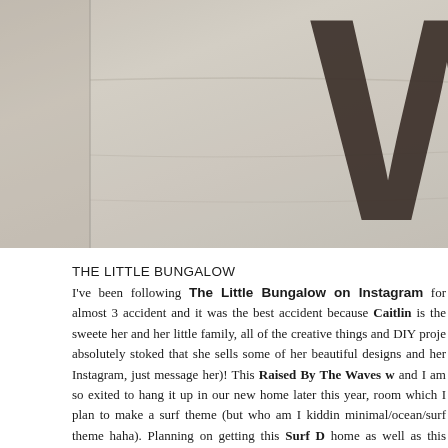[Figure (photo): Close-up photo of a light beige/cream fabric or canvas with large dark brown bold letters visible in the upper right corner (partial letters, appears to show 'W' or similar). The fabric has subtle texture and draping folds. Left portion shows a plain fabric background with a slight shadow line.]
THE LITTLE BUNGALOW
I've been following The Little Bungalow on Instagram for almost 3 accident and it was the best accident because Caitlin is the sweete her and her little family, all of the creative things and DIY proje absolutely stoked that she sells some of her beautiful designs and her Instagram, just message her)! This Raised By The Waves w and I am so exited to hang it up in our new home later this year, room which I plan to make a surf theme (but who am I kiddin minimal/ocean/surf theme haha). Planning on getting this Surf D home as well as this Lady Glide Throw Pillow too for Bella's ro